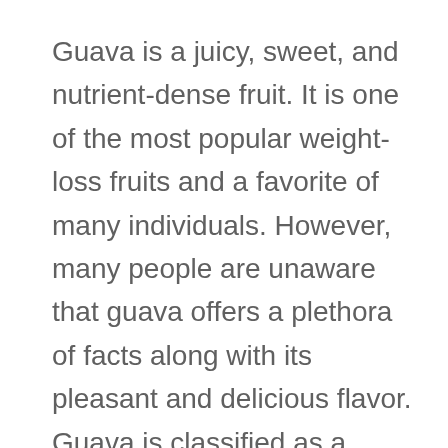Guava is a juicy, sweet, and nutrient-dense fruit. It is one of the most popular weight-loss fruits and a favorite of many individuals. However, many people are unaware that guava offers a plethora of facts along with its pleasant and delicious flavor. Guava is classified as a superfruit due to the inclusion of several health-promoting …